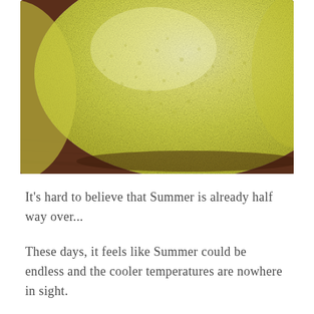[Figure (photo): Close-up photograph of a large yellow lemon resting on a wooden surface. The lemon fills most of the frame, showing its textured, bumpy yellow-green rind. The background shows a dark brown wooden surface.]
It's hard to believe that Summer is already half way over...
These days, it feels like Summer could be endless and the cooler temperatures are nowhere in sight.